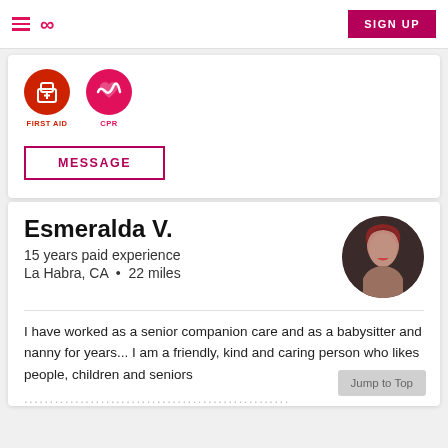SIGN UP
[Figure (illustration): First Aid icon (red circle with first aid kit) and CPR icon (pink circle with heart monitor), labeled FIRST AID and CPR]
MESSAGE
Esmeralda V.
15 years paid experience
La Habra, CA  •  22 miles
[Figure (photo): Circular profile photo of Esmeralda V., a woman with red/auburn hair, smiling, against a dark background]
I have worked as a senior companion care and as a babysitter and nanny for years... I am a friendly, kind and caring person who likes people, children and seniors
...................................................